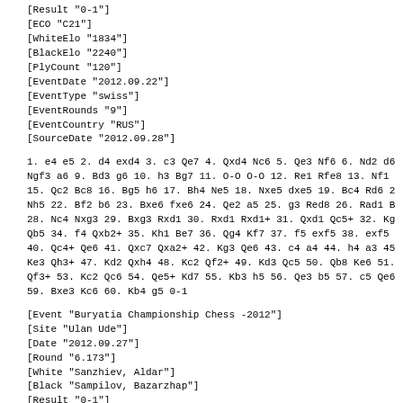[Result "0-1"]
[ECO "C21"]
[WhiteElo "1834"]
[BlackElo "2240"]
[PlyCount "120"]
[EventDate "2012.09.22"]
[EventType "swiss"]
[EventRounds "9"]
[EventCountry "RUS"]
[SourceDate "2012.09.28"]
1. e4 e5 2. d4 exd4 3. c3 Qe7 4. Qxd4 Nc6 5. Qe3 Nf6 6. Nd2 d6
Ngf3 a6 9. Bd3 g6 10. h3 Bg7 11. O-O O-O 12. Re1 Rfe8 13. Nf1
15. Qc2 Bc8 16. Bg5 h6 17. Bh4 Ne5 18. Nxe5 dxe5 19. Bc4 Rd6 2
Nh5 22. Bf2 b6 23. Bxe6 fxe6 24. Qe2 a5 25. g3 Red8 26. Rad1 B
28. Nc4 Nxg3 29. Bxg3 Rxd1 30. Rxd1 Rxd1+ 31. Qxd1 Qc5+ 32. Kg
Qb5 34. f4 Qxb2+ 35. Kh1 Be7 36. Qg4 Kf7 37. f5 exf5 38. exf5
40. Qc4+ Qe6 41. Qxc7 Qxa2+ 42. Kg3 Qe6 43. c4 a4 44. h4 a3 45
Ke3 Qh3+ 47. Kd2 Qxh4 48. Kc2 Qf2+ 49. Kd3 Qc5 50. Qb8 Ke6 51.
Qf3+ 53. Kc2 Qc6 54. Qe5+ Kd7 55. Kb3 h5 56. Qe3 b5 57. c5 Qe6
59. Bxe3 Kc6 60. Kb4 g5 0-1
[Event "Buryatia Championship Chess -2012"]
[Site "Ulan Ude"]
[Date "2012.09.27"]
[Round "6.173"]
[White "Sanzhiev, Aldar"]
[Black "Sampilov, Bazarzhap"]
[Result "0-1"]
[ECO "A22"]
[BlackElo "2146"]
[PlyCount "68"]